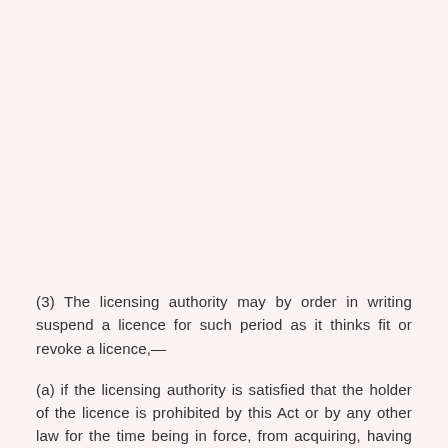(3) The licensing authority may by order in writing suspend a licence for such period as it thinks fit or revoke a licence,—
(a) if the licensing authority is satisfied that the holder of the licence is prohibited by this Act or by any other law for the time being in force, from acquiring, having in his possession